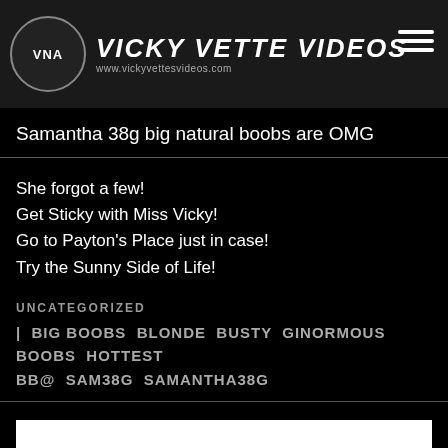VICKY VETTE VIDEOS www.vickyvettesvideos.com
Samantha 38g big natural boobs are OMG
She forgot a few!
Get Sticky with Miss Vicky!
Go to Payton's Place just in case!
Try the Sunny Side of Life!
UNCATEGORIZED
| BIG BOOBS BLONDE BUSTY GINORMOUS BOOBS HOTTEST BB@ SAM38G SAMANTHA38G
SEARCH